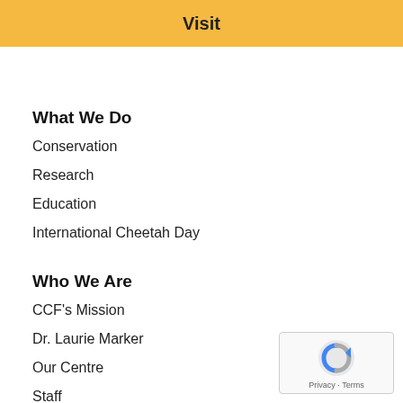Visit
What We Do
Conservation
Research
Education
International Cheetah Day
Who We Are
CCF's Mission
Dr. Laurie Marker
Our Centre
Staff
[Figure (logo): reCAPTCHA badge with blue and grey circular logo and 'Privacy - Terms' text]